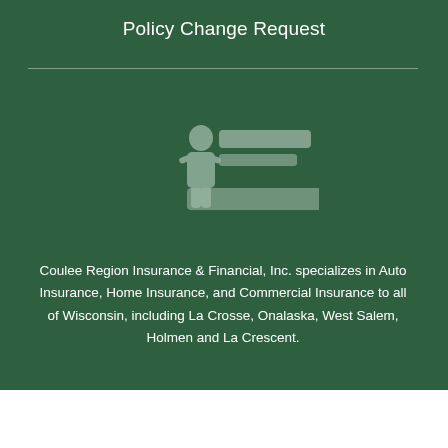Policy Change Request
[Figure (logo): Erie Insurance Local Agent logo (blurred/redacted), white logo on dark green background]
Coulee Region Insurance & Financial, Inc. specializes in Auto Insurance, Home Insurance, and Commercial Insurance to all of Wisconsin, including La Crosse, Onalaska, West Salem, Holmen and La Crescent.